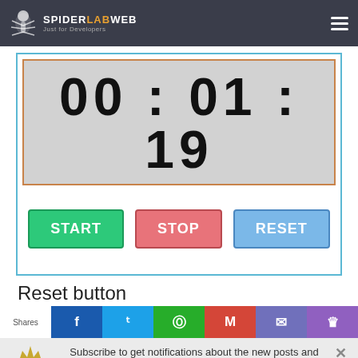SpiderLabWeb — Just for Developers
[Figure (screenshot): Countdown timer widget showing 00:01:19 with START, STOP, and RESET buttons inside a bordered container]
Reset button
Shares
Subscribe to get notifications about the new posts and projects.
Enter your Email
Subscribe Now